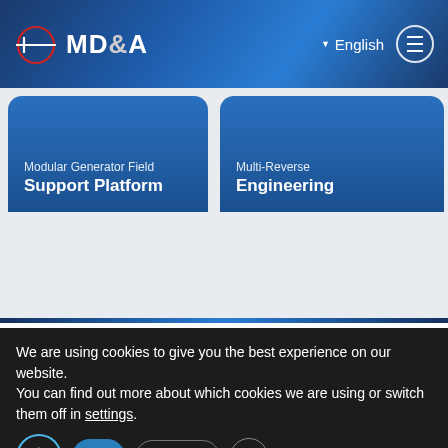MD&A | English | menu
Modular Generator Field Support Platform
Multi-Reverse Engineering
MD&A
About Our Company
Services
Gas Turbine
We are using cookies to give you the best experience on our website.
You can find out more about which cookies we are using or switch them off in settings.
ept | Settings | X